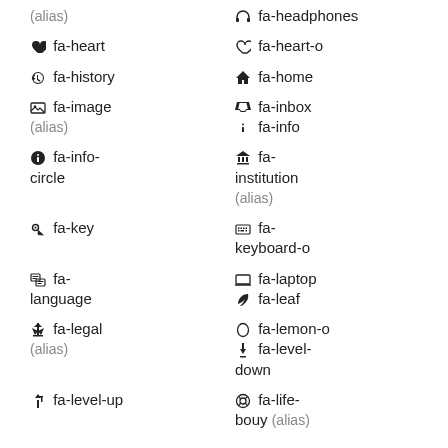(alias)
fa-headphones
fa-heart
fa-heart-o
fa-history
fa-home
fa-image (alias)
fa-inbox
fa-info
fa-info-circle
fa-institution (alias)
fa-key
fa-keyboard-o
fa-language
fa-laptop
fa-leaf
fa-legal (alias)
fa-lemon-o
fa-level-down
fa-level-up
fa-life-bouy (alias)